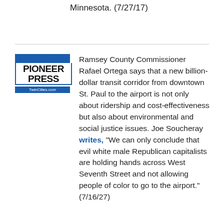Minnesota. (7/27/17)
[Figure (logo): Pioneer Press TwinCities.com logo — blue and white newspaper logo]
Ramsey County Commissioner Rafael Ortega says that a new billion-dollar transit corridor from downtown St. Paul to the airport is not only about ridership and cost-effectiveness but also about environmental and social justice issues. Joe Soucheray writes, "We can only conclude that evil white male Republican capitalists are holding hands across West Seventh Street and not allowing people of color to go to the airport." (7/16/27)